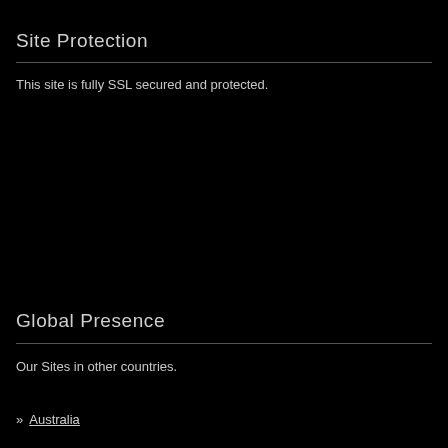Site Protection
This site is fully SSL secured and protected.
Global Presence
Our Sites in other countries.
» Australia